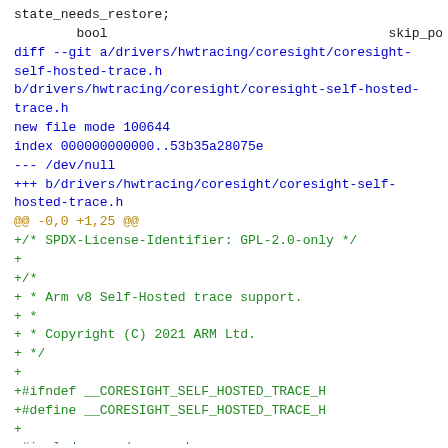state_needs_restore;
        bool                                    skip_power_up;
diff --git a/drivers/hwtracing/coresight/coresight-self-hosted-trace.h b/drivers/hwtracing/coresight/coresight-self-hosted-trace.h
new file mode 100644
index 000000000000..53b35a28075e
--- /dev/null
+++ b/drivers/hwtracing/coresight/coresight-self-hosted-trace.h
@@ -0,0 +1,25 @@
+/* SPDX-License-Identifier: GPL-2.0-only */
+
+/*
+ * Arm v8 Self-Hosted trace support.
+ *
+ * Copyright (C) 2021 ARM Ltd.
+ */
+
+#ifndef __CORESIGHT_SELF_HOSTED_TRACE_H
+#define __CORESIGHT_SELF_HOSTED_TRACE_H
+
+#include <asm/sysreg.h>
+
+static inline u64 read_trfcr(void)
+{
+        return read_sysreg_s(SYS_TRFCR_EL1);
+}
+